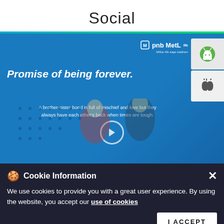Social
[Figure (screenshot): PNB MetLife advertisement screenshot showing 'Promise of being forever.' with a brother-sister bond message, app store buttons for Android and iOS, and people in the background on a blue background.]
Cookie Information
We use cookies to provide you with a great user experience. By using the website, you accept our use of cookies
CALL
DI...